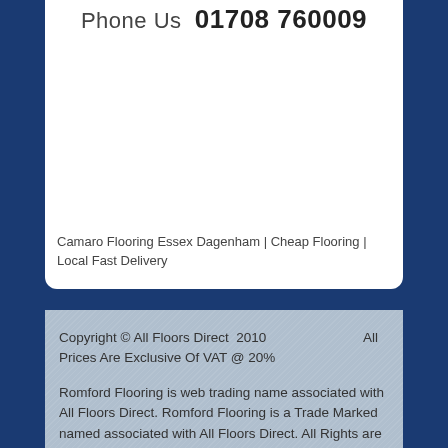Phone Us  01708 760009
[Figure (other): White card area with image placeholder]
Camaro Flooring Essex Dagenham | Cheap Flooring | Local Fast Delivery
Copyright © All Floors Direct  2010    All Prices Are Exclusive Of VAT @ 20%
Romford Flooring is web trading name associated with All Floors Direct. Romford Flooring is a Trade Marked named associated with All Floors Direct. All Rights are reserved 2010